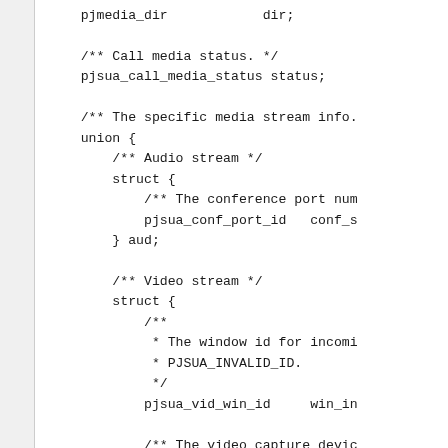Code snippet showing C struct definition with pjmedia_dir dir; pjua_call_media_status status; union with audio and video stream structs including conference port, video window id, and video capture device fields, ending with media[PJMEDIA_MAX_SDP_MEDIA];